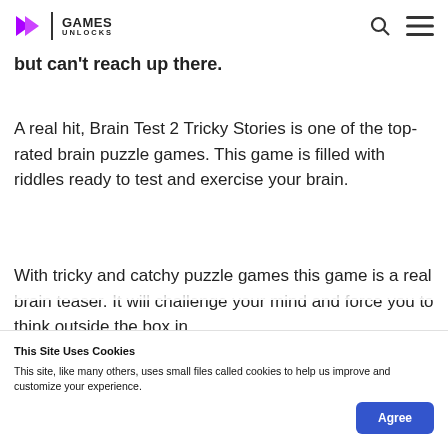GAMES UNLOCKS
but can't reach up there.
A real hit, Brain Test 2 Tricky Stories is one of the top-rated brain puzzle games. This game is filled with riddles ready to test and exercise your brain.
With tricky and catchy puzzle games this game is a real brain teaser. It will challenge your mind and force you to think outside the box in
This Site Uses Cookies
This site, like many others, uses small files called cookies to help us improve and customize your experience.